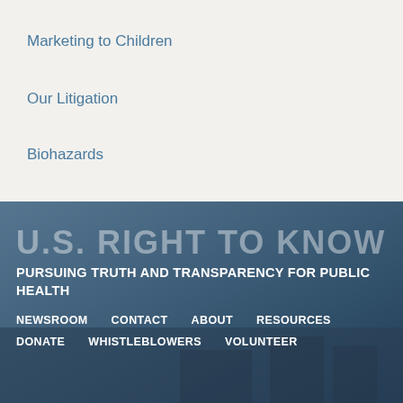Marketing to Children
Our Litigation
Biohazards
U.S. RIGHT TO KNOW
PURSUING TRUTH AND TRANSPARENCY FOR PUBLIC HEALTH
NEWSROOM   CONTACT   ABOUT   RESOURCES   DONATE   WHISTLEBLOWERS   VOLUNTEER